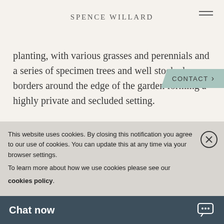SPENCE WILLARD
planting, with various grasses and perennials and a series of specimen trees and well stocked borders around the edge of the garden forming a highly private and secluded setting.
There is wooden garden shed and a vegetable garden with a series of raised beds divided by
This website uses cookies. By closing this notification you agree to our use of cookies. You can update this at any time via your browser settings.
To learn more about how we use cookies please see our cookies policy.
Chat now